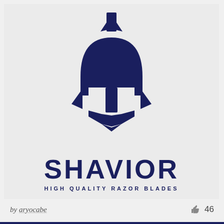[Figure (logo): Shavior brand logo: a dark navy Spartan helmet with a razor blade integrated into the face guard, above the text SHAVIOR and tagline HIGH QUALITY RAZOR BLADES]
by aryocabe
46